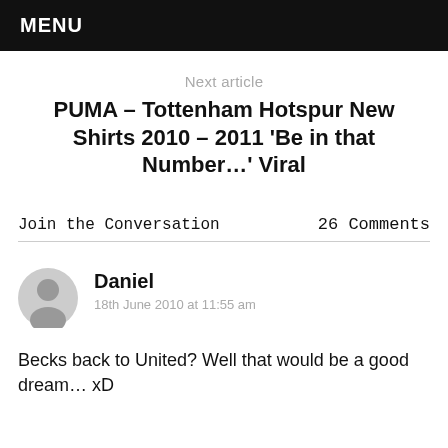MENU
Next article
PUMA – Tottenham Hotspur New Shirts 2010 – 2011 'Be in that Number…' Viral
Join the Conversation   26 Comments
Daniel
18th June 2010 at 11:55 am
Becks back to United? Well that would be a good dream… xD